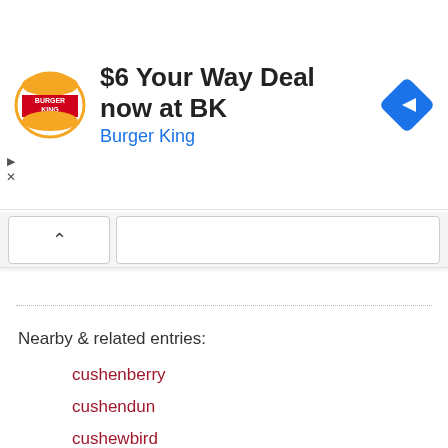[Figure (infographic): Burger King advertisement banner: BK logo on left, text '$6 Your Way Deal now at BK' in bold black, 'Burger King' in blue below, blue diamond navigation arrow on right. Small play and close (X) controls on far left.]
Nearby & related entries:
cushenberry
cushendun
cushewbird
cushies
cushily
cushing reflex
cushing syndrome
cushing's disease
cushing's syndrome